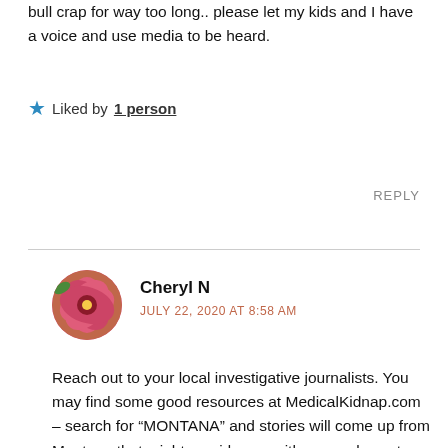bull crap for way too long.. please let my kids and I have a voice and use media to be heard.
Liked by 1 person
REPLY
Cheryl N
JULY 22, 2020 AT 8:58 AM
Reach out to your local investigative journalists. You may find some good resources at MedicalKidnap.com – search for “MONTANA” and stories will come up from Montana that might provide you with some places to begin. Did you file complaints with the local police, local sheriff, wherever they take complaints? You’re right – the